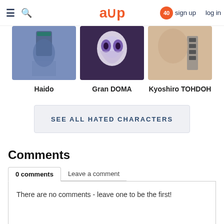acp — sign up  log in  [40 notifications]
[Figure (photo): Three anime character thumbnails: Haido (blue-grey background), Gran DOMA (dark purple background), Kyoshiro TOHDOH (beige/skin tone background)]
Haido
Gran DOMA
Kyoshiro TOHDOH
SEE ALL HATED CHARACTERS
Comments
0 comments
Leave a comment
There are no comments - leave one to be the first!